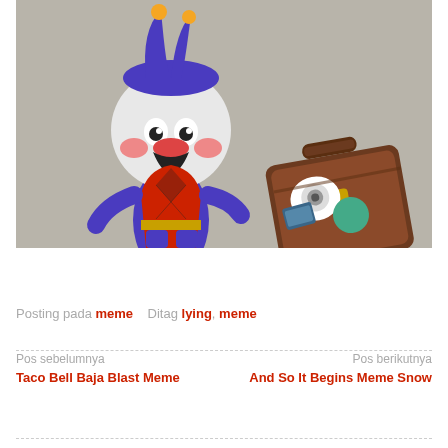[Figure (photo): A plush toy figure resembling an Animal Crossing character (Rover/Biskit) wearing a red argyle vest and jester hat, standing next to a brown travel suitcase decorated with stickers, on a grey background.]
Once Upon A Time Memes Clean
Posting pada meme   Ditag lying, meme
Pos sebelumnya
Taco Bell Baja Blast Meme
Pos berikutnya
And So It Begins Meme Snow